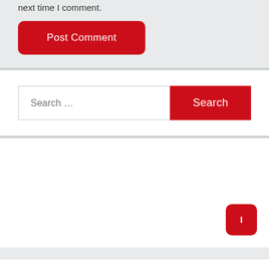next time I comment.
Post Comment
Search …
Search